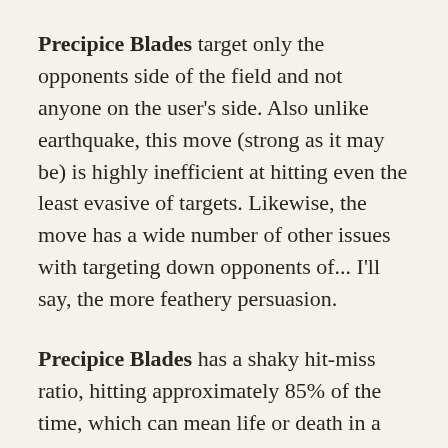Precipice Blades target only the opponents side of the field and not anyone on the user's side. Also unlike earthquake, this move (strong as it may be) is highly inefficient at hitting even the least evasive of targets. Likewise, the move has a wide number of other issues with targeting down opponents of... I'll say, the more feathery persuasion.
Precipice Blades has a shaky hit-miss ratio, hitting approximately 85% of the time, which can mean life or death in a situation where the user may be in dire straits, with an opponent of Groudon geared up and ready to fire back. One may breathe a small sigh of relief when the opponent calls to Groudon for this abominable attack — but only a small sigh at